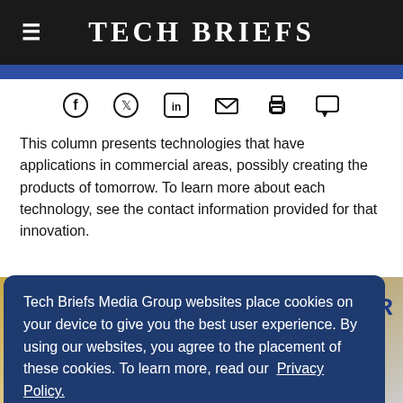Tech Briefs
[Figure (other): Social sharing icons row: Facebook, Twitter, LinkedIn, Email, Print, Comment]
This column presents technologies that have applications in commercial areas, possibly creating the products of tomorrow. To learn more about each technology, see the contact information provided for that innovation.
Tech Briefs Media Group websites place cookies on your device to give you the best user experience. By using our websites, you agree to the placement of these cookies. To learn more, read our Privacy Policy.
[Figure (photo): Partial image visible behind cookie consent dialog, showing golden mechanical or decorative elements. Blue text partially visible reading 'ATOR']